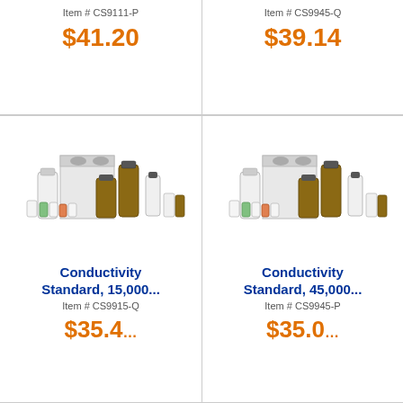Item # CS9111-P
$41.20
Item # CS9945-Q
$39.14
[Figure (photo): Set of laboratory bottles of various sizes including amber glass, white HDPE, and a cardboard box packaging]
Conductivity Standard, 15,000...
Item # CS9915-Q
$35.4...
[Figure (photo): Set of laboratory bottles of various sizes including amber glass, white HDPE, and a cardboard box packaging]
Conductivity Standard, 45,000...
Item # CS9945-P
$35.0...